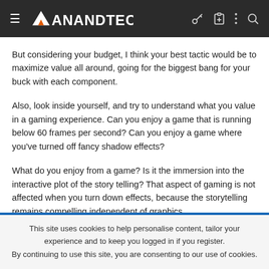AnandTech
But considering your budget, I think your best tactic would be to maximize value all around, going for the biggest bang for your buck with each component.
Also, look inside yourself, and try to understand what you value in a gaming experience. Can you enjoy a game that is running below 60 frames per second? Can you enjoy a game where you've turned off fancy shadow effects?
What do you enjoy from a game? Is it the immersion into the interactive plot of the story telling? That aspect of gaming is not affected when you turn down effects, because the storytelling remains compelling independent of graphics.
This site uses cookies to help personalise content, tailor your experience and to keep you logged in if you register.
By continuing to use this site, you are consenting to our use of cookies.